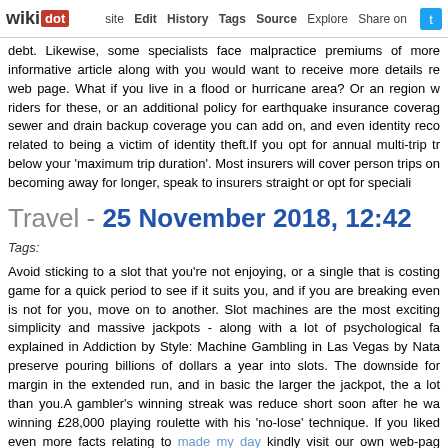wikidot | site | Edit | History | Tags | Source | Explore | Share on [Twitter]
debt. Likewise, some specialists face malpractice premiums of more informative article along with you would want to receive more details re web page. What if you live in a flood or hurricane area? Or an region w riders for these, or an additional policy for earthquake insurance coverag sewer and drain backup coverage you can add on, and even identity reco related to being a victim of identity theft.If you opt for annual multi-trip tr below your 'maximum trip duration'. Most insurers will cover person trips on becoming away for longer, speak to insurers straight or opt for speciali
Travel - 25 November 2018, 12:42
Tags:
Avoid sticking to a slot that you're not enjoying, or a single that is costing game for a quick period to see if it suits you, and if you are breaking even is not for you, move on to another. Slot machines are the most exciting simplicity and massive jackpots - along with a lot of psychological fa explained in Addiction by Style: Machine Gambling in Las Vegas by Nata preserve pouring billions of dollars a year into slots. The downside for margin in the extended run, and in basic the larger the jackpot, the a lot than you.A gambler's winning streak was reduce short soon after he wa winning £28,000 playing roulette with his 'no-lose' technique. If you liked even more facts relating to made my day kindly visit our own web-pag bankroll need to cover 250 bets to give you a 90 percent possibility of las lot. Once you're in the game, it's a good idea to acquire some additiona require a reload. It is considerably simpler than obtaining to get in touch w lose a pot. Topping up frequently will improve any great players' hourly re deck game is slightly far more disadvantageous to a player (10ths of a pe